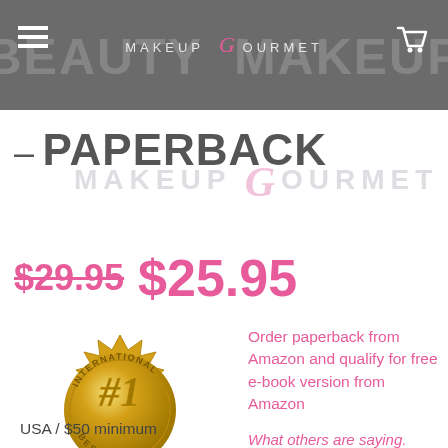MAKEUP GOURMET — BEAUTY MAKEUP
– PAPERBACK
MAKEUP GOURMET
$29.95  $25.95
[Figure (illustration): International #1 Bestseller gold seal badge]
Order paperback from Amazon and qualify for free e-book version from Amazon
What others are saying.
Free shipping within
USA / $50 minimum